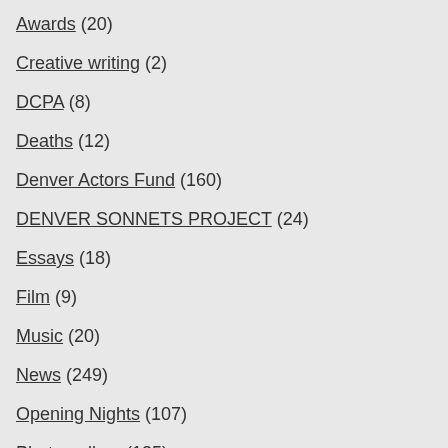Awards (20)
Creative writing (2)
DCPA (8)
Deaths (12)
Denver Actors Fund (160)
DENVER SONNETS PROJECT (24)
Essays (18)
Film (9)
Music (20)
News (249)
Opening Nights (107)
Photo gallery (135)
Season announcement (16)